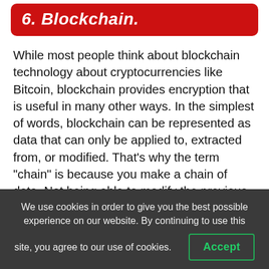6. Blockchain.
While most people think about blockchain technology about cryptocurrencies like Bitcoin, blockchain provides encryption that is useful in many other ways. In the simplest of words, blockchain can be represented as data that can only be applied to, extracted from, or modified. That’s why the term “chain” is because you make a chain of data. Not being able to modify the previous blocks is what makes them so safe. Also, blockchains are consensually driven, so that
We use cookies in order to give you the best possible experience on our website. By continuing to use this site, you agree to our use of cookies.
Accept